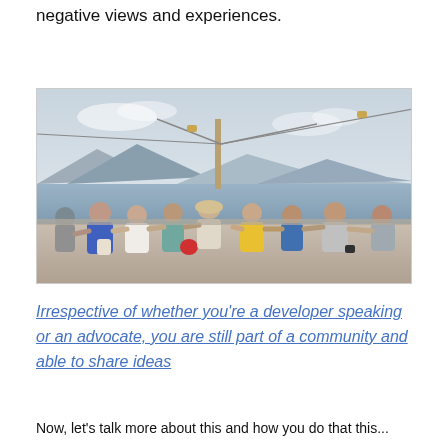negative views and experiences.
[Figure (photo): A group of friends sitting in a row with arms around each other, viewed from behind, looking at a waterfront scene with cable car towers and mountains in the background.]
Irrespective of whether you’re a developer speaking or an advocate, you are still part of a community and able to share ideas
Now, let’s talk more about this and how you do that this...